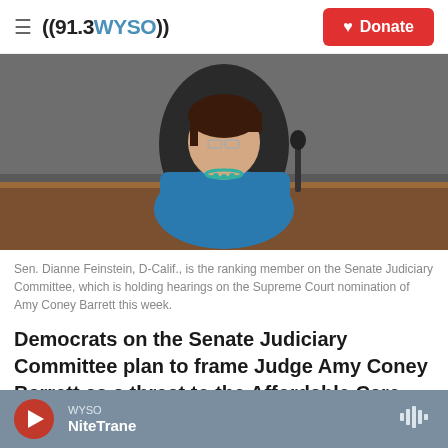((91.3 WYSO))   Donate
[Figure (photo): Sen. Dianne Feinstein seated at a Senate hearing panel, wearing a blue jacket and teal necklace, in front of a microphone.]
Sen. Dianne Feinstein, D-Calif., is the ranking member on the Senate Judiciary Committee, which is holding hearings on the Supreme Court nomination of Amy Coney Barrett this week.
Democrats on the Senate Judiciary Committee plan to frame Judge Amy Coney Barrett as a threat to the Affordable Care Act and abortion rights in their questioning of the Supreme Court Justice